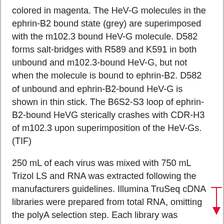colored in magenta. The HeV-G molecules in the ephrin-B2 bound state (grey) are superimposed with the m102.3 bound HeV-G molecule. D582 forms salt-bridges with R589 and K591 in both unbound and m102.3-bound HeV-G, but not when the molecule is bound to ephrin-B2. D582 of unbound and ephrin-B2-bound HeV-G is shown in thin stick. The B6S2-S3 loop of ephrin-B2-bound HeVG sterically crashes with CDR-H3 of m102.3 upon superimposition of the HeV-Gs. (TIF)
250 mL of each virus was mixed with 750 mL Trizol LS and RNA was extracted following the manufacturers guidelines. Illumina TruSeq cDNA libraries were prepared from total RNA, omitting the polyA selection step. Each library was subjected to half a MiSeq run using a 300 cycle kit, paired end sequencing. A quality control tool for high throughput sequence, FASTQC, a java stand-alone program was downloaded from Babraham Bioinformatics Institute: http://www.bioinformatics. babraham.ac.uk/projects/fastqc/ and each fastq file was checked for quality. Resulting WT HeV and WT NiV reads were mapped to their respective reference genomes, NC_001906 and NC_002728, using CLC Genomics Workbench v6.0.4, using default parameters.